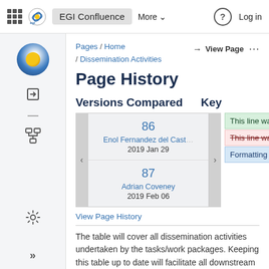EGI Confluence  More  Log in
Page History
Pages / Home / Dissemination Activities
Versions Compared   Key
| Version | Author | Date |
| --- | --- | --- |
| 86 | Enol Fernandez del Cast… | 2019 Jan 29 |
| 87 | Adrian Coveney | 2019 Feb 06 |
This line was added.
This line was removed.
Formatting was changed.
View Page History
The table will cover all dissemination activities undertaken by the tasks/work packages. Keeping this table up to date will facilitate all downstream reporting